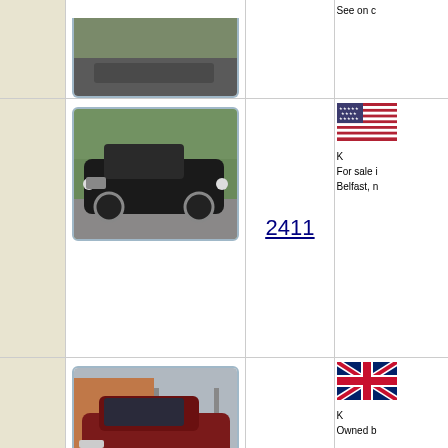[Figure (photo): Top portion of a classic car photo, partially visible at top of page]
[Figure (photo): Black classic Lancia/Jaguar style car parked on gravel]
2411
[Figure (photo): US flag icon]
For sale in Belfast, n
[Figure (photo): Dark red/maroon classic car parked on driveway]
2424
[Figure (photo): UK Union Jack flag icon]
Owned b
[Figure (photo): Australian flag icon]
This car h down thr was first Australia. only non- modificat spoke wh